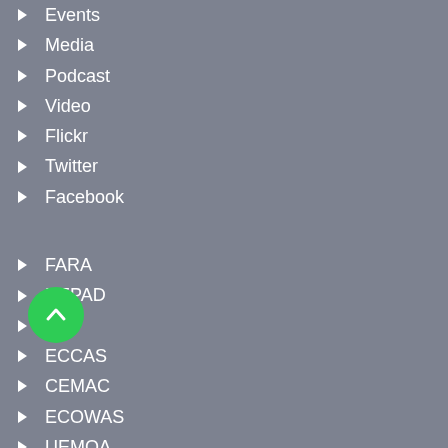Events
Media
Podcast
Video
Flickr
Twitter
Facebook
FARA
NEPAD
AU
ECCAS
CEMAC
ECOWAS
UEMOA
CILSS
APIRED
WAAPP
WAAPP M&E